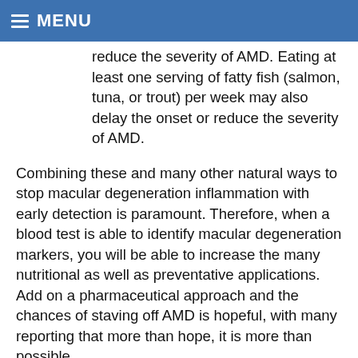MENU
reduce the severity of AMD. Eating at least one serving of fatty fish (salmon, tuna, or trout) per week may also delay the onset or reduce the severity of AMD.
Combining these and many other natural ways to stop macular degeneration inflammation with early detection is paramount. Therefore, when a blood test is able to identify macular degeneration markers, you will be able to increase the many nutritional as well as preventative applications. Add on a pharmaceutical approach and the chances of staving off AMD is hopeful, with many reporting that more than hope, it is more than possible.